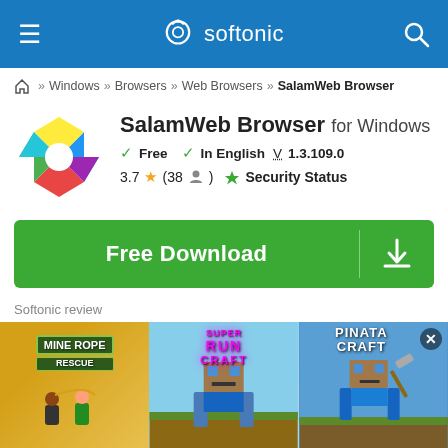softonic
Windows » Browsers » Web Browsers » SalamWeb Browser
SalamWeb Browser for Windows
Free  In English  V 1.3.109.0
3.7 ★ (38 👤)  Security Status
Free Download
Softonic review
Shariah-Certified Online Browser
[Figure (infographic): Advertisement bar with three game ads: Mine Rope Rescue, Super Run Craft, and Pinata Craft]